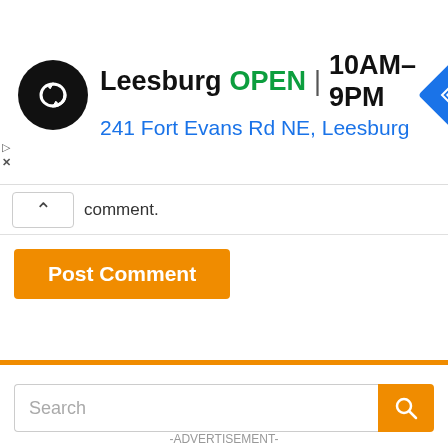[Figure (screenshot): Google/store ad banner: black circle logo with infinity-like arrows icon, text 'Leesburg OPEN | 10AM–9PM' and '241 Fort Evans Rd NE, Leesburg', blue navigation diamond icon on right]
comment.
[Figure (screenshot): Orange 'Post Comment' button]
[Figure (screenshot): Search bar with orange search button]
-ADVERTISEMENT-
[Figure (screenshot): Advertisement banner: black background with text 'How To Open 7 Chakras - Meditation and Healing - SunSigns.Org' and circle graphic]
[Figure (screenshot): Bottom Google ad: black circle logo, checkmark, 'In-store shopping', blue navigation diamond]